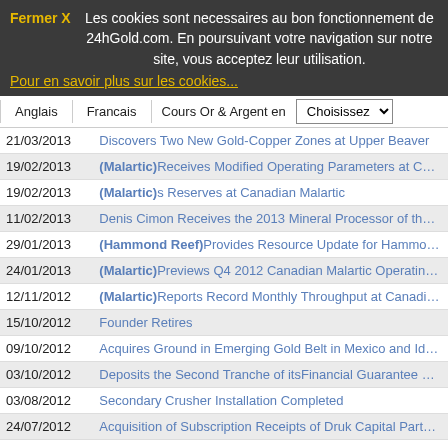Fermer X  Les cookies sont necessaires au bon fonctionnement de 24hGold.com. En poursuivant votre navigation sur notre site, vous acceptez leur utilisation.
Pour en savoir plus sur les cookies...
Anglais | Francais | Cours Or & Argent en | Choisissez
| Date | Title |
| --- | --- |
| 21/03/2013 | Discovers Two New Gold-Copper Zones at Upper Beaver |
| 19/02/2013 | (Malartic)Receives Modified Operating Parameters at Canadian Malartic |
| 19/02/2013 | (Malartic)s Reserves at Canadian Malartic |
| 11/02/2013 | Denis Cimon Receives the 2013 Mineral Processor of the Year |
| 29/01/2013 | (Hammond Reef)Provides Resource Update for Hammond Reef Project |
| 24/01/2013 | (Malartic)Previews Q4 2012 Canadian Malartic Operating Results and 201... |
| 12/11/2012 | (Malartic)Reports Record Monthly Throughput at Canadian Malartic |
| 15/10/2012 | Founder Retires |
| 09/10/2012 | Acquires Ground in Emerging Gold Belt in Mexico and Identifi... |
| 03/10/2012 | Deposits the Second Tranche of itsFinancial Guarantee Coveri... |
| 03/08/2012 | Secondary Crusher Installation Completed |
| 24/07/2012 | Acquisition of Subscription Receipts of Druk Capital Partner... |
| 16/05/2012 | Enhances Credit Agreement With CPPIB |
| 14/05/2012 | (Malartic)Provides Update on Canadian Malartic |
| 10/05/2012 | (Malartic)Reports Fire at Canadian Malartic Milling Plant |
| 03/04/2012 | and Metis Nation of Ontario Sign Memorandum of Understanding |